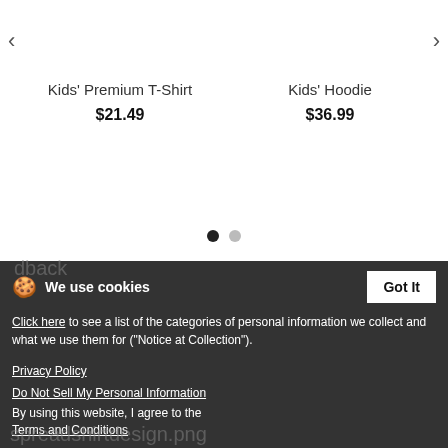<
>
Kids' Premium T-Shirt
$21.49
Kids' Hoodie
$36.99
[Figure (other): Carousel pagination dots: one dark (active) and one light (inactive)]
Product Details
Description
Size hint
We use cookies
Click here to see a list of the categories of personal information we collect and what we use them for ("Notice at Collection").
Privacy Policy
Do Not Sell My Personal Information
By using this website, I agree to the Terms and Conditions